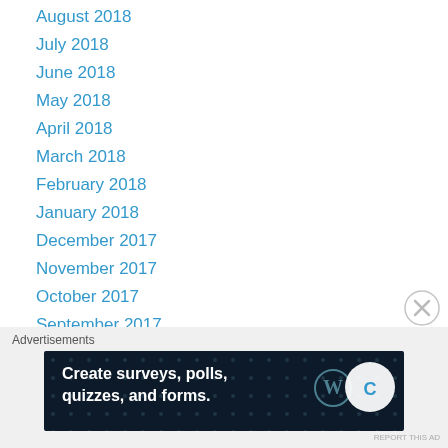August 2018
July 2018
June 2018
May 2018
April 2018
March 2018
February 2018
January 2018
December 2017
November 2017
October 2017
September 2017
August 2017
July 2017
June 2017
May 2017
Advertisements
[Figure (screenshot): Advertisement banner: 'Create surveys, polls, quizzes, and forms.' with WordPress and crown logos on dark navy background]